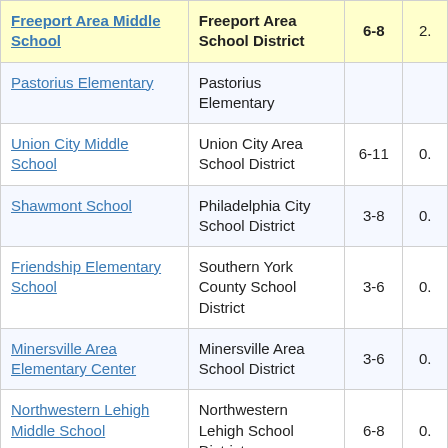| School | District | Grades |  |
| --- | --- | --- | --- |
| Freeport Area Middle School | Freeport Area School District | 6-8 | 2. |
| Pastorius Elementary | Pastorius Elementary |  |  |
| Union City Middle School | Union City Area School District | 6-11 | 0. |
| Shawmont School | Philadelphia City School District | 3-8 | 0. |
| Friendship Elementary School | Southern York County School District | 3-6 | 0. |
| Minersville Area Elementary Center | Minersville Area School District | 3-6 | 0. |
| Northwestern Lehigh Middle School | Northwestern Lehigh School District | 6-8 | 0. |
| Pittsburgh Arsenal 6-8 | Pittsburgh School District | 6-8 | 0. |